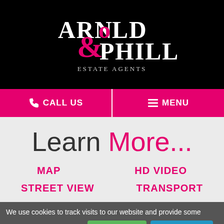[Figure (logo): Arnold & Phillips Estate Agents logo — white serif text on black background with a pink ampersand]
CALL US
MENU
Learn More...
MAP
HD VIDEO
STREET VIEW
TRANSPORT
We use cookies to track visits to our website and provide some optional personalisation.
I Understand
Privacy Policy